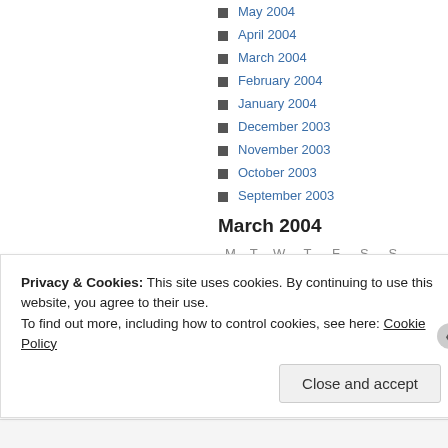May 2004
April 2004
March 2004
February 2004
January 2004
December 2003
November 2003
October 2003
September 2003
March 2004
| M | T | W | T | F | S | S |
| --- | --- | --- | --- | --- | --- | --- |
| 1 | 2 | 3 | 4 | 5 | 6 | 7 |
| 8 | 9 | 10 | 11 | 12 | 13 | 14 |
Privacy & Cookies: This site uses cookies. By continuing to use this website, you agree to their use.
To find out more, including how to control cookies, see here: Cookie Policy
Close and accept